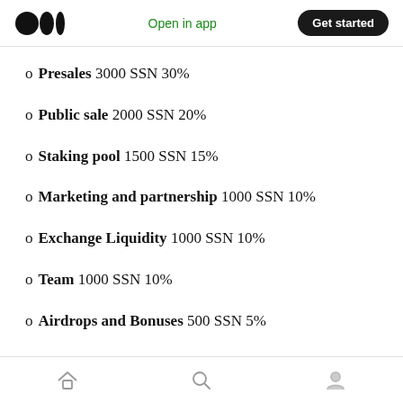Open in app  Get started
Presales 3000 SSN 30%
Public sale 2000 SSN 20%
Staking pool 1500 SSN 15%
Marketing and partnership 1000 SSN 10%
Exchange Liquidity 1000 SSN 10%
Team 1000 SSN 10%
Airdrops and Bonuses 500 SSN 5%
Home  Search  Profile